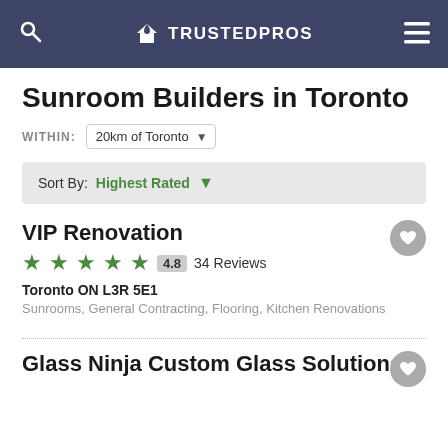TRUSTEDPROS
Sunroom Builders in Toronto
WITHIN: 20km of Toronto
Sort By: Highest Rated
VIP Renovation
4.8  34 Reviews
Toronto ON L3R 5E1
Sunrooms, General Contracting, Flooring, Kitchen Renovations
Glass Ninja Custom Glass Solutions